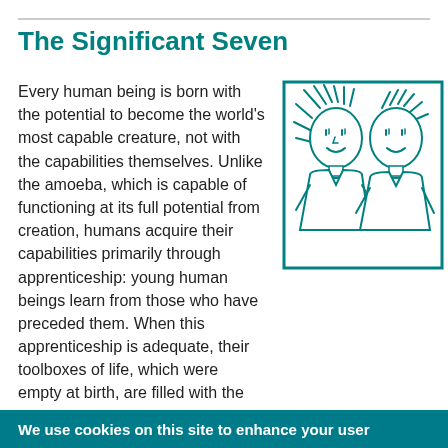The Significant Seven
Every human being is born with the potential to become the world's most capable creature, not with the capabilities themselves. Unlike the amoeba, which is capable of functioning at its full potential from creation, humans acquire their capabilities primarily through apprenticeship: young human beings learn from those who have preceded them. When this apprenticeship is adequate, their toolboxes of life, which were empty at birth, are filled with the essential tools for effective living. In times of change, these tools, which we call
[Figure (illustration): Teal line drawing of two smiling stick-figure children side by side inside a square border]
We use cookies on this site to enhance your user